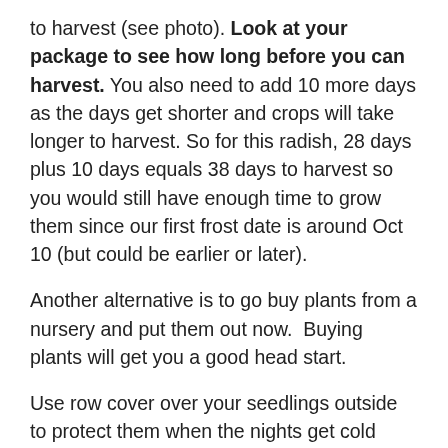to harvest (see photo). Look at your package to see how long before you can harvest. You also need to add 10 more days as the days get shorter and crops will take longer to harvest. So for this radish, 28 days plus 10 days equals 38 days to harvest so you would still have enough time to grow them since our first frost date is around Oct 10 (but could be earlier or later).
Another alternative is to go buy plants from a nursery and put them out now.  Buying plants will get you a good head start.
Use row cover over your seedlings outside to protect them when the nights get cold whether planting from seeds or transplanting.
You will notice that I haven't mentioned any warm season